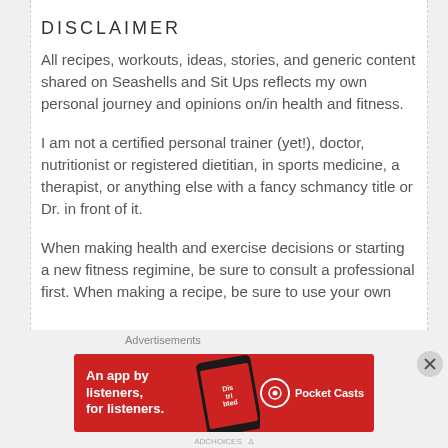DISCLAIMER
All recipes, workouts, ideas, stories, and generic content shared on Seashells and Sit Ups reflects my own personal journey and opinions on/in health and fitness.
I am not a certified personal trainer (yet!), doctor, nutritionist or registered dietitian, in sports medicine, a therapist, or anything else with a fancy schmancy title or Dr. in front of it.
When making health and exercise decisions or starting a new fitness regimine, be sure to consult a professional first. When making a recipe, be sure to use your own
[Figure (infographic): Pocket Casts advertisement banner on red background with text 'An app by listeners, for listeners.' and a phone image showing the app]
Advertisements